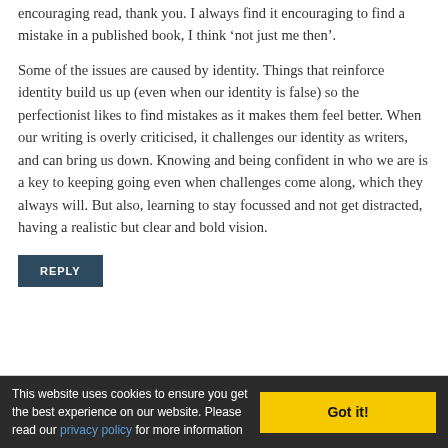encouraging read, thank you. I always find it encouraging to find a mistake in a published book, I think ‘not just me then’.
Some of the issues are caused by identity. Things that reinforce identity build us up (even when our identity is false) so the perfectionist likes to find mistakes as it makes them feel better. When our writing is overly criticised, it challenges our identity as writers, and can bring us down. Knowing and being confident in who we are is a key to keeping going even when challenges come along, which they always will. But also, learning to stay focussed and not get distracted, having a realistic but clear and bold vision.
REPLY
This website uses cookies to ensure you get the best experience on our website. Please read our privacy policy for more information